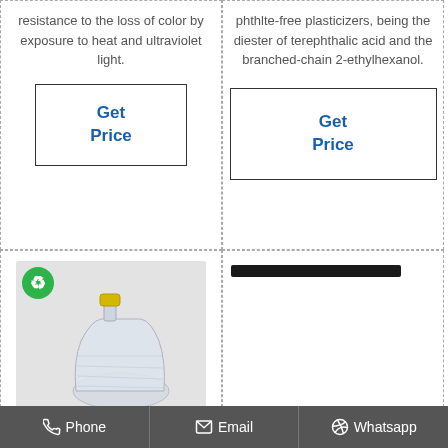resistance to the loss of color by exposure to heat and ultraviolet light.
Get Price
phthlte-free plasticizers, being the diester of terephthalic acid and the branched-chain 2-ethylhexanol.
Get Price
[Figure (photo): A clear plastic bottle with a yellow cap, with a green recycle logo watermark in the top left corner, on a light gray background.]
[Figure (other): A thick black horizontal bar/rectangle near the top of the cell.]
Phone   Email   Whatsapp